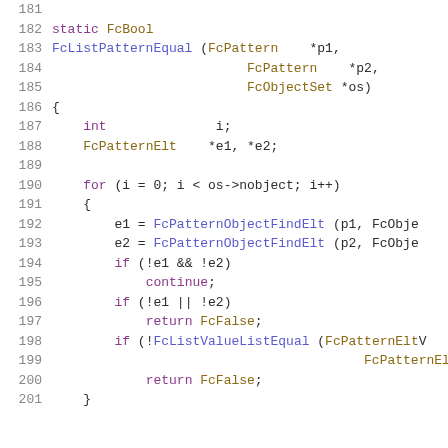[Figure (screenshot): C source code snippet showing function FcListPatternEqual, lines 181-201, with syntax highlighting. Keywords in purple, types in golden/olive, function names in blue/indigo, plain code in dark gray, line numbers in gray.]